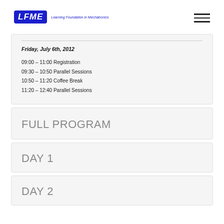LFME — Learning Foundation in Mechatronics
Friday, July 6th, 2012
09:00 – 11:00 Registration
09:30 – 10:50 Parallel Sessions
10:50 – 11:20 Coffee Break
11:20 – 12:40 Parallel Sessions
FULL PROGRAM
DAY 1
DAY 2